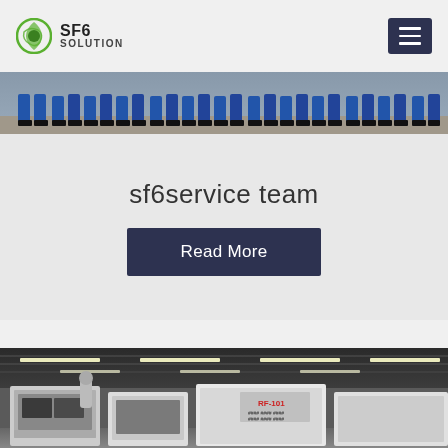SF6 SOLUTION
[Figure (photo): Row of workers in blue uniforms standing in a line, viewed from waist down, feet visible on ground]
sf6service team
Read More
[Figure (photo): Industrial warehouse interior with large SF6 gas equipment machines (labeled RF-101), fluorescent strip lighting on ceiling, white/grey industrial units]